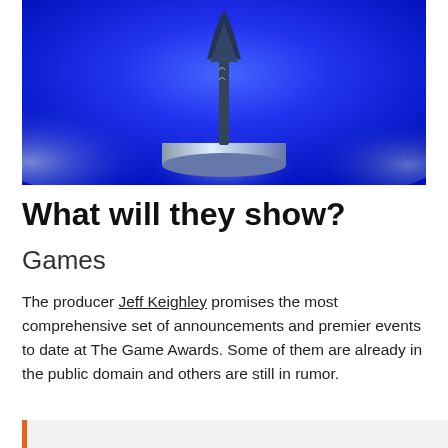[Figure (photo): A blue-lit photo of The Game Awards trophy on a cylindrical platform, with smoke/fog effects in the background against a vivid blue backdrop.]
What will they show?
Games
The producer Jeff Keighley promises the most comprehensive set of announcements and premier events to date at The Game Awards. Some of them are already in the public domain and others are still in rumor.